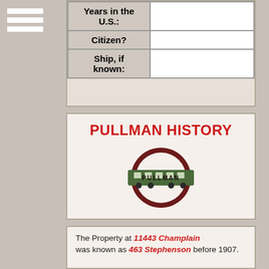| Field | Value |
| --- | --- |
| Years in the U.S.: |  |
| Citizen? |  |
| Ship, if known: |  |
PULLMAN HISTORY
[Figure (logo): Pullman railroad logo — circular badge with train car in center and text 'TRAVEL AND VISIT' and 'SAFE AND COMFORT' around the ring]
The Property at 11443 Champlain was known as 463 Stephenson before 1907.